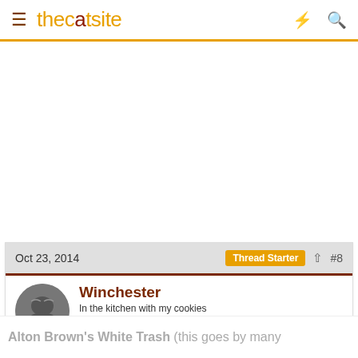thecatsite
Oct 23, 2014  Thread Starter  #8
Winchester
In the kitchen with my cookies
Thread starter
Veteran
Alton Brown's White Trash (this goes by many